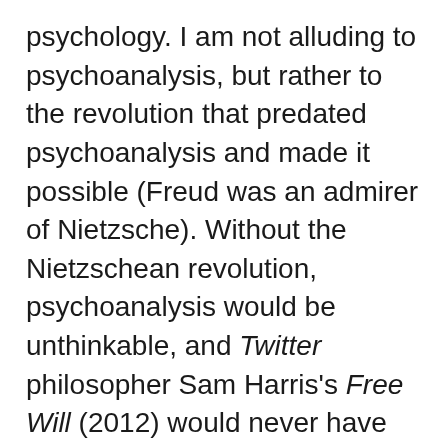psychology.  I am not alluding to psychoanalysis, but rather to the revolution that predated psychoanalysis and made it possible (Freud was an admirer of Nietzsche).  Without the Nietzschean revolution, psychoanalysis would be unthinkable, and Twitter philosopher Sam Harris's Free Will (2012) would never have existed.
I am alluding to the revolution that Nietzsche effected in 1878.  It was a silent revolution.  Almost no one seems aware that this revolution ever took place.
It is a revolution that describes the turning-away